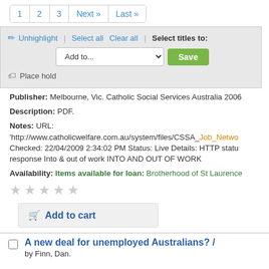1  2  3  Next »  Last »
Unhighlight | Select all  Clear all | Select titles to: Add to... Save  Place hold
Publisher: Melbourne, Vic. Catholic Social Services Australia 2006
Description: PDF.
Notes: URL: 'http://www.catholicwelfare.com.au/system/files/CSSA_Job_Netwo Checked: 22/04/2009 2:34:02 PM Status: Live Details: HTTP status response Into & out of work INTO AND OUT OF WORK
Availability: Items available for loan: Brotherhood of St Laurence
★★★★★ (rating stars)
Add to cart
A new deal for unemployed Australians? / by Finn, Dan.